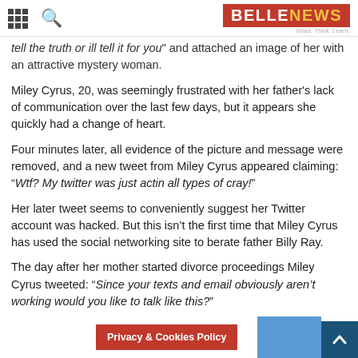BELLENEWS - Read. Think. Learn.
tell the truth or ill tell it for you" and attached an image of her with an attractive mystery woman.
Miley Cyrus, 20, was seemingly frustrated with her father's lack of communication over the last few days, but it appears she quickly had a change of heart.
Four minutes later, all evidence of the picture and message were removed, and a new tweet from Miley Cyrus appeared claiming: "Wtf? My twitter was just actin all types of cray!"
Her later tweet seems to conveniently suggest her Twitter account was hacked. But this isn't the first time that Miley Cyrus has used the social networking site to berate father Billy Ray.
The day after her mother started divorce proceedings Miley Cyrus tweeted: "Since your texts and email obviously aren't working would you like to talk like this?"